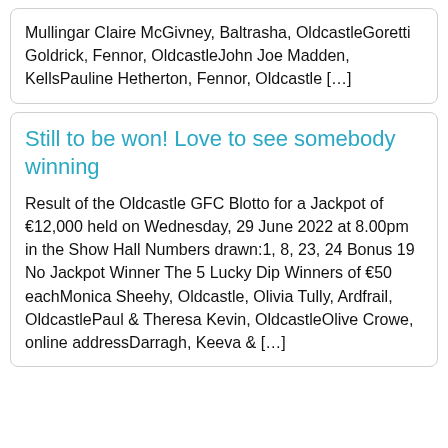Mullingar Claire McGivney, Baltrasha, OldcastleGoretti Goldrick, Fennor, OldcastleJohn Joe Madden, KellsPauline Hetherton, Fennor, Oldcastle […]
Still to be won! Love to see somebody winning
Result of the Oldcastle GFC Blotto for a Jackpot of €12,000 held on Wednesday, 29 June 2022 at 8.00pm in the Show Hall Numbers drawn:1, 8, 23, 24 Bonus 19 No Jackpot Winner The 5 Lucky Dip Winners of €50 eachMonica Sheehy, Oldcastle, Olivia Tully, Ardfrail, OldcastlePaul & Theresa Kevin, OldcastleOlive Crowe, online addressDarragh, Keeva & […]